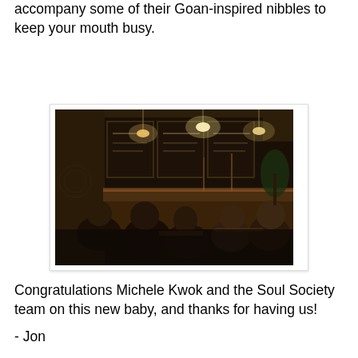accompany some of their Goan-inspired nibbles to keep your mouth busy.
[Figure (photo): Interior of Soul Society bar/restaurant: people seated at tables in a dimly lit space with large chalkboard menus on the back wall, warm pendant lights hanging from the ceiling, and a bar visible in the background.]
Congratulations Michele Kwok and the Soul Society team on this new baby, and thanks for having us!
- Jon
No comments:
Share